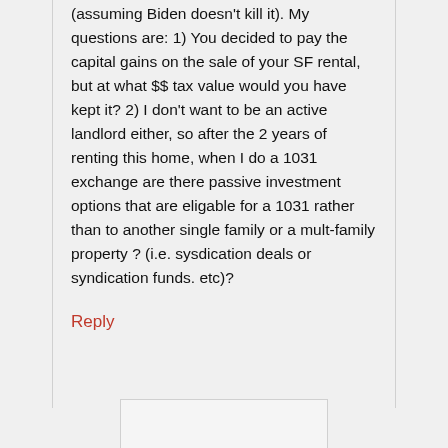(assuming Biden doesn't kill it). My questions are: 1) You decided to pay the capital gains on the sale of your SF rental, but at what $$ tax value would you have kept it? 2) I don't want to be an active landlord either, so after the 2 years of renting this home, when I do a 1031 exchange are there passive investment options that are eligable for a 1031 rather than to another single family or a mult-family property ? (i.e. sysdication deals or syndication funds. etc)?
Reply